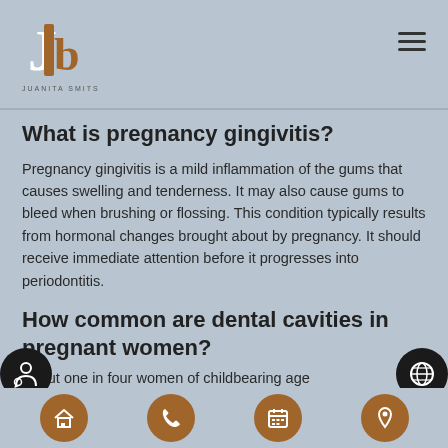JB JUANITA SMITS
What is pregnancy gingivitis?
Pregnancy gingivitis is a mild inflammation of the gums that causes swelling and tenderness. It may also cause gums to bleed when brushing or flossing. This condition typically results from hormonal changes brought about by pregnancy. It should receive immediate attention before it progresses into periodontitis.
How common are dental cavities in pregnant women?
About one in four women of childbearing age